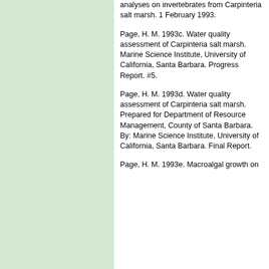analyses on invertebrates from Carpinteria salt marsh. 1 February 1993.
Page, H. M. 1993c. Water quality assessment of Carpinteria salt marsh. Marine Science Institute, University of California, Santa Barbara. Progress Report. #5.
Page, H. M. 1993d. Water quality assessment of Carpinteria salt marsh. Prepared for Department of Resource Management, County of Santa Barbara. By: Marine Science Institute, University of California, Santa Barbara. Final Report.
Page, H. M. 1993e. Macroalgal growth on